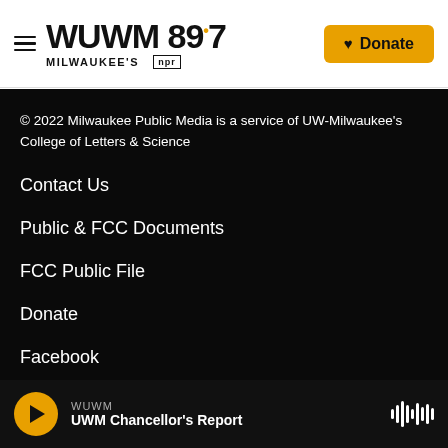WUWM 89.7 Milwaukee's NPR — Donate
© 2022 Milwaukee Public Media is a service of UW-Milwaukee's College of Letters & Science
Contact Us
Public & FCC Documents
FCC Public File
Donate
Facebook
Twitter
Instagram
WUWM — UWM Chancellor's Report